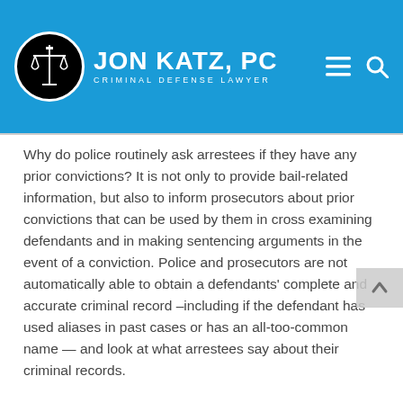[Figure (logo): Jon Katz, PC Criminal Defense Lawyer logo with scales of justice in a black circle, white text on blue header background]
Why do police routinely ask arrestees if they have any prior convictions? It is not only to provide bail-related information, but also to inform prosecutors about prior convictions that can be used by them in cross examining defendants and in making sentencing arguments in the event of a conviction. Police and prosecutors are not automatically able to obtain a defendants' complete and accurate criminal record –including if the defendant has used aliases in past cases or has an all-too-common name — and look at what arrestees say about their criminal records.
As I always say, it is best to avoid speaking with police without a lawyer present, other than to provide one's name in jurisdictions with laws criminalizing not providing one's name when asked when police have reasonable articulable suspicion to believe the